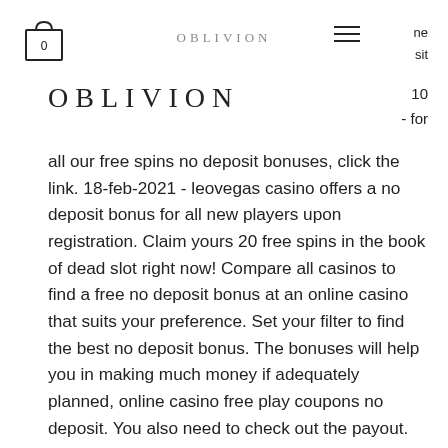OBLIVION | 0 | ne | sit
OBLIVION
10 - for
all our free spins no deposit bonuses, click the link. 18-feb-2021 - leovegas casino offers a no deposit bonus for all new players upon registration. Claim yours 20 free spins in the book of dead slot right now! Compare all casinos to find a free no deposit bonus at an online casino that suits your preference. Set your filter to find the best no deposit bonus. The bonuses will help you in making much money if adequately planned, online casino free play coupons no deposit. You also need to check out the payout. No risk gambling doubledown free slots download art clip gambling